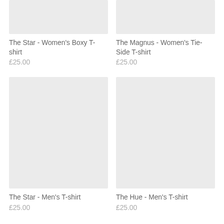[Figure (photo): Product image placeholder for The Star - Women's Boxy T-shirt, light gray rectangle]
The Star - Women's Boxy T-shirt
£25.00
[Figure (photo): Product image placeholder for The Magnus - Women's Tie-Side T-shirt, light gray rectangle]
The Magnus - Women's Tie-Side T-shirt
£25.00
[Figure (photo): Product image placeholder for The Star - Men's T-shirt, light gray rectangle]
The Star - Men's T-shirt
£25.00
[Figure (photo): Product image placeholder for The Hue - Men's T-shirt, light gray rectangle]
The Hue - Men's T-shirt
£25.00